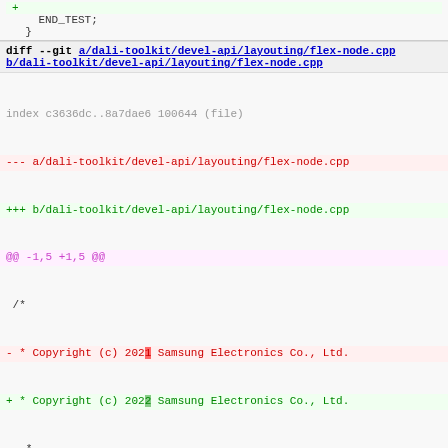+
    END_TEST;
  }
diff --git a/dali-toolkit/devel-api/layouting/flex-node.cpp b/dali-toolkit/devel-api/layouting/flex-node.cpp
index c3636dc..8a7dae6 100644 (file)
--- a/dali-toolkit/devel-api/layouting/flex-node.cpp
+++ b/dali-toolkit/devel-api/layouting/flex-node.cpp
@@ -1,5 +1,5 @@
 /*
-  * Copyright (c) 2021 Samsung Electronics Co., Ltd.
+  * Copyright (c) 2022 Samsung Electronics Co., Ltd.
    *
    * Licensed under the Apache License, Version 2.0 (the "Lic
    * you may not use this file except in compliance with the
@@ -93,9 +93,12 @@ Node::Node()
 Node::~Node()
 {
   DALI_LOG_INFO(gLogFilter, Debug::Verbose, "Destructor() >
+  // Destruct child Flex::Node first
+  mImpl->mChildNodes.clear();
+
   if(mImpl->mYogaNode)
   {
-     YGNodeFreeRecursive(mImpl->mYogaNode);
+     YGNodeFree(mImpl->mYogaNode);
      mImpl->mYogaNode = nullptr;
   }
   DALI_LOG_INFO(gLogFilter, Debug::Verbose, "Destructor() <